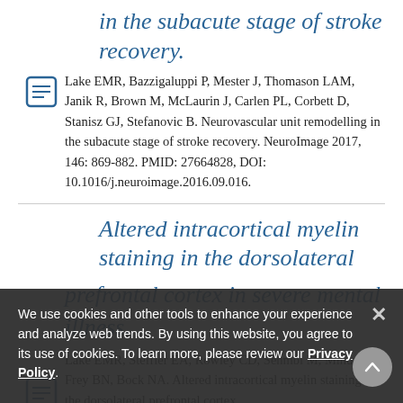in the subacute stage of stroke recovery.
Lake EMR, Bazzigaluppi P, Mester J, Thomason LAM, Janik R, Brown M, McLaurin J, Carlen PL, Corbett D, Stanisz GJ, Stefanovic B. Neurovascular unit remodelling in the subacute stage of stroke recovery. NeuroImage 2017, 146: 869-882. PMID: 27664828, DOI: 10.1016/j.neuroimage.2016.09.016.
Altered intracortical myelin staining in the dorsolateral prefrontal cortex in severe mental illness.
Lake EMR, Steffler EA, Rowley CD, Sehmbi M, Minuzzi L, Frey BN, Bock NA. Altered intracortical myelin staining in the dorsolateral prefrontal cortex...